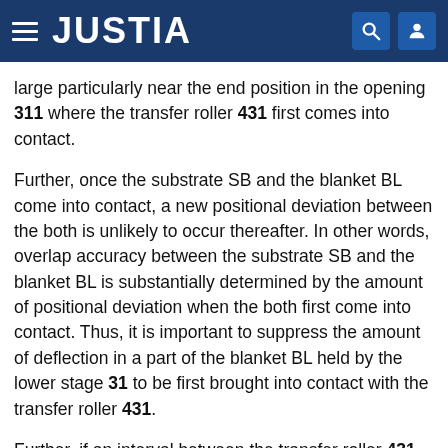JUSTIA
large particularly near the end position in the opening 311 where the transfer roller 431 first comes into contact.
Further, once the substrate SB and the blanket BL come into contact, a new positional deviation between the both is unlikely to occur thereafter. In other words, overlap accuracy between the substrate SB and the blanket BL is substantially determined by the amount of positional deviation when the both first come into contact. Thus, it is important to suppress the amount of deflection in a part of the blanket BL held by the lower stage 31 to be first brought into contact with the transfer roller 431.
Further, if an interval between the transfer roller 431 and the lower stage 31 differs between the opposite end